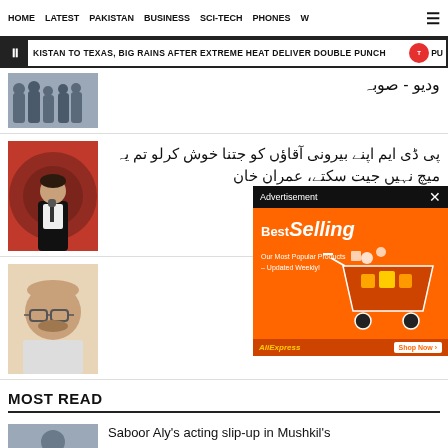HOME  LATEST  PAKISTAN  BUSINESS  SCI-TECH  PHONES  W  ☰
KISTAN TO TEXAS, BIG RAINS AFTER EXTREME HEAT DELIVER DOUBLE PUNCH  PU
[Figure (photo): Group of people standing]
پی ڈی ایم اپنے بیرونی آقاؤں کو جتنا خوش کرلو تم یہ میچ نہیں جیت سکتے، عمران خان
[Figure (photo): Imran Khan speaking at a podium with microphone]
جج ظاہر کرکے دینے والا ملزم گرفتار
[Figure (photo): Man's face close-up]
[Figure (other): Advertisement - BestSelling - AliExpress Shop Now]
MOST READ
Saboor Aly's acting slip-up in Mushkil's
[Figure (photo): Person thumbnail for most read]